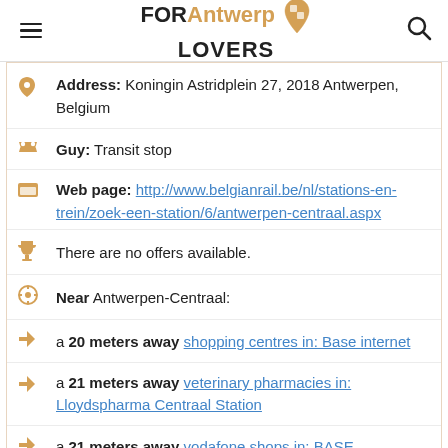FOR Antwerp LOVERS
Address: Koningin Astridplein 27, 2018 Antwerpen, Belgium
Guy: Transit stop
Web page: http://www.belgianrail.be/nl/stations-en-trein/zoek-een-station/6/antwerpen-centraal.aspx
There are no offers available.
Near Antwerpen-Centraal:
a 20 meters away shopping centres in: Base internet
a 21 meters away veterinary pharmacies in: Lloydspharma Centraal Station
a 21 meters away vodafone shops in: BASE